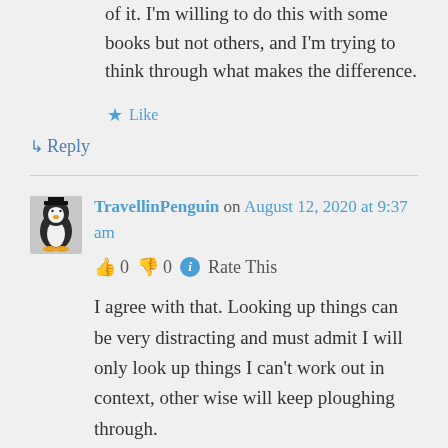of it. I'm willing to do this with some books but not others, and I'm trying to think through what makes the difference.
★ Like
↳ Reply
TravellinPenguin on August 12, 2020 at 9:37 am
👍 0 👎 0 ℹ Rate This
I agree with that. Looking up things can be very distracting and must admit I will only look up things I can't work out in context, other wise will keep ploughing through.